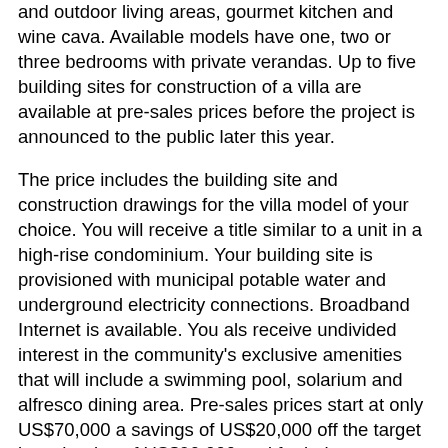and outdoor living areas, gourmet kitchen and wine cava. Available models have one, two or three bedrooms with private verandas. Up to five building sites for construction of a villa are available at pre-sales prices before the project is announced to the public later this year.
The price includes the building site and construction drawings for the villa model of your choice. You will receive a title similar to a unit in a high-rise condominium. Your building site is provisioned with municipal potable water and underground electricity connections. Broadband Internet is available. You also receive undivided interest in the community's exclusive amenities that will include a swimming pool, solarium and alfresco dining area. Pre-sales prices start at only US$70,000 a savings of US$20,000 off the target launch price of US$90,000 and far below recent sales at comparable developments. Lock-in the pre-sales price with a transferable purchase option.
Construction costs for a high-quality villa per the approved plans are approximately US$130 - US$150 per square foot (US$1,400 - US$1,600 per sqm). The total cost of the building site and villa...